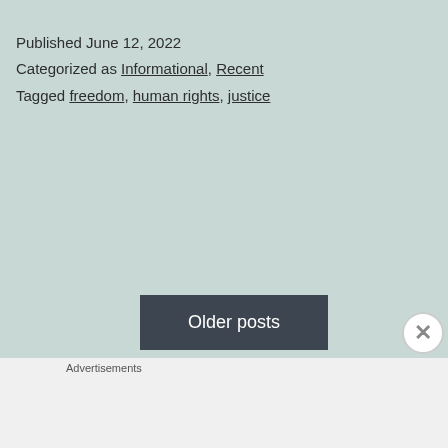Published June 12, 2022
Categorized as Informational, Recent
Tagged freedom, human rights, justice
Older posts
Advertisements
[Figure (illustration): Fandom on Tumblr colorful advertisement banner with gradient orange to purple background and decorative doodles]